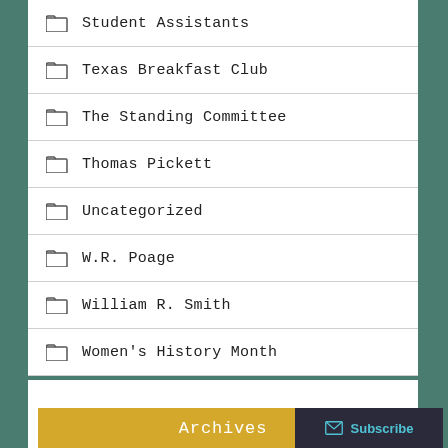Student Assistants
Texas Breakfast Club
The Standing Committee
Thomas Pickett
Uncategorized
W.R. Poage
William R. Smith
Women's History Month
Archives